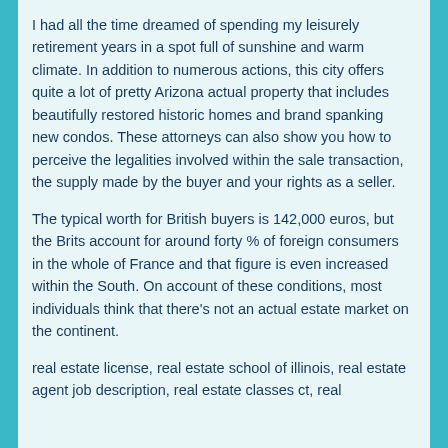I had all the time dreamed of spending my leisurely retirement years in a spot full of sunshine and warm climate. In addition to numerous actions, this city offers quite a lot of pretty Arizona actual property that includes beautifully restored historic homes and brand spanking new condos. These attorneys can also show you how to perceive the legalities involved within the sale transaction, the supply made by the buyer and your rights as a seller.
The typical worth for British buyers is 142,000 euros, but the Brits account for around forty % of foreign consumers in the whole of France and that figure is even increased within the South. On account of these conditions, most individuals think that there's not an actual estate market on the continent.
real estate license, real estate school of illinois, real estate agent job description, real estate classes ct, real